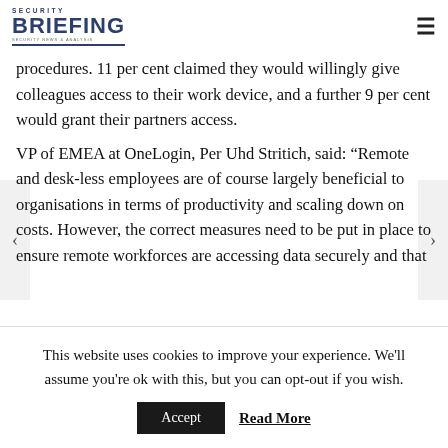SECURITY BRIEFING
procedures. 11 per cent claimed they would willingly give colleagues access to their work device, and a further 9 per cent would grant their partners access.
VP of EMEA at OneLogin, Per Uhd Stritich, said: “Remote and desk-less employees are of course largely beneficial to organisations in terms of productivity and scaling down on costs. However, the correct measures need to be put in place to ensure remote workforces are accessing data securely and that
This website uses cookies to improve your experience. We'll assume you're ok with this, but you can opt-out if you wish.
Accept    Read More